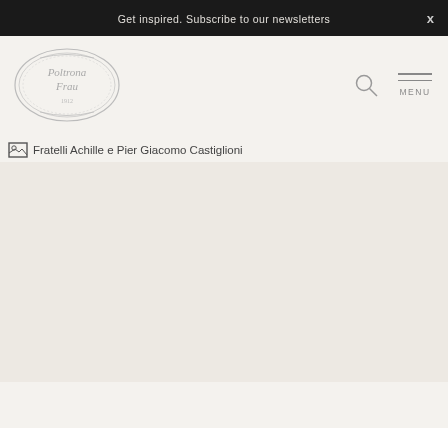Get inspired. Subscribe to our newsletters  x
[Figure (logo): Poltrona Frau oval logo with decorative border and year 1912]
[Figure (other): Search icon (magnifying glass) and Menu button with hamburger lines and MENU label]
[Figure (photo): Broken image placeholder with alt text: Fratelli Achille e Pier Giacomo Castiglioni]